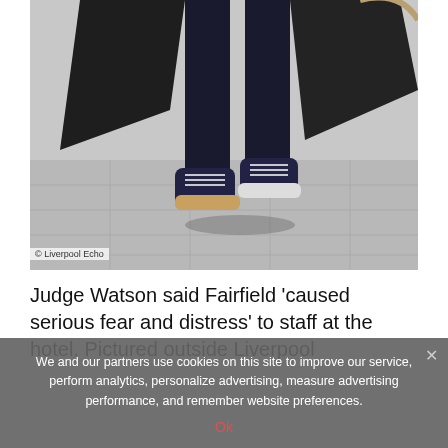[Figure (photo): Close-up photo from behind of a person walking on a paved street wearing dark jeans and high-top dark sneakers; a black coat/bag flaps open to the sides; light grey pavement background. Watermark: © Liverpool Echo.]
© Liverpool Echo
Judge Watson said Fairfield 'caused serious fear and distress' to staff at the hotel. Pictured outside Liverpool
We and our partners use cookies on this site to improve our service, perform analytics, personalize advertising, measure advertising performance, and remember website preferences.
Ok